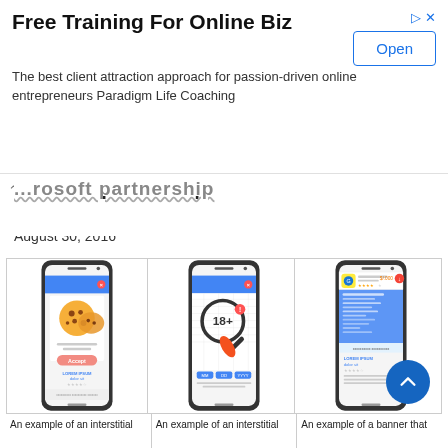[Figure (screenshot): Advertisement banner: 'Free Training For Online Biz' with Open button and arrow icon. Description: The best client attraction approach for passion-driven online entrepreneurs Paradigm Life Coaching]
...rosoft partnership
August 30, 2016
[Figure (photo): Three smartphone mockups showing examples of interstitial and banner ads. First phone shows cookie consent interstitial with LOREM IPSUM. Second phone shows age verification interstitial with 18+ magnifying glass. Third phone shows a banner ad with app install example and LOREM IPSUM.]
An example of an interstitial
An example of an interstitial
An example of a banner that